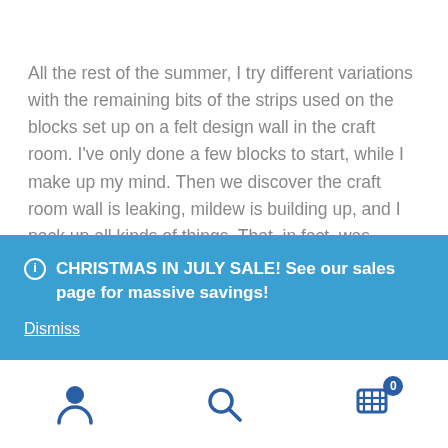All the rest of the summer, I try different variations with the remaining bits of the strips used on the blocks set up on a felt design wall in the craft room. I've only done a few blocks to start, while I make up my mind. Then we discover the craft room wall is leaking, mildew is building up, and I pack up all kinds of things. That, in fact, was summer last year, not this one. It sits in a pile until now, shuffled off. Sometimes you need to do that – stuff it in a pile…
CHRISTMAS IN JULY SALE! See our sales page for massive savings! Dismiss
the production runs are getting bigger, and things are